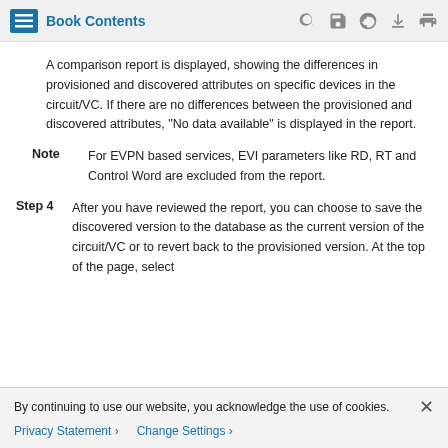Book Contents
A comparison report is displayed, showing the differences in provisioned and discovered attributes on specific devices in the circuit/VC. If there are no differences between the provisioned and discovered attributes, "No data available" is displayed in the report.
Note  For EVPN based services, EVI parameters like RD, RT and Control Word are excluded from the report.
Step 4  After you have reviewed the report, you can choose to save the discovered version to the database as the current version of the circuit/VC or to revert back to the provisioned version. At the top of the page, select
By continuing to use our website, you acknowledge the use of cookies.
Privacy Statement > Change Settings >